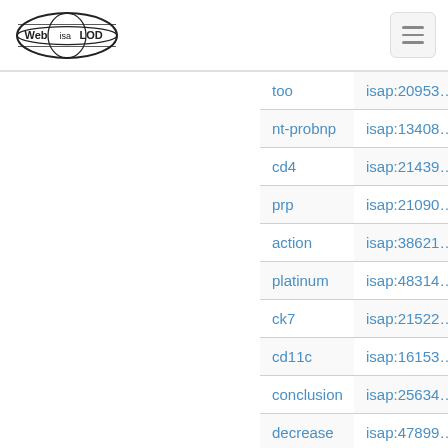Web isa LOD — navigation header
| term | isap id |
| --- | --- |
| too | isap:20953… |
| nt-probnp | isap:13408… |
| cd4 | isap:21439… |
| prp | isap:21090… |
| action | isap:38621… |
| platinum | isap:48314… |
| ck7 | isap:21522… |
| cd11c | isap:16153… |
| conclusion | isap:25634… |
| decrease | isap:47899… |
| label | isap:15779… |